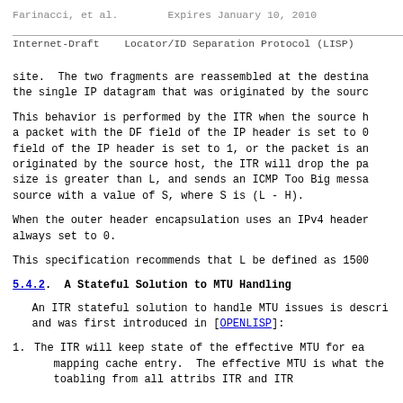Farinacci, et al.        Expires January 10, 2010
Internet-Draft    Locator/ID Separation Protocol (LISP)
site.  The two fragments are reassembled at the destination the single IP datagram that was originated by the source
This behavior is performed by the ITR when the source h a packet with the DF field of the IP header is set to 0 field of the IP header is set to 1, or the packet is an originated by the source host, the ITR will drop the pa size is greater than L, and sends an ICMP Too Big messa source with a value of S, where S is (L - H).
When the outer header encapsulation uses an IPv4 header always set to 0.
This specification recommends that L be defined as 1500
5.4.2.  A Stateful Solution to MTU Handling
An ITR stateful solution to handle MTU issues is descri and was first introduced in [OPENLISP]:
1.  The ITR will keep state of the effective MTU for ea mapping cache entry.  The effective MTU is what the